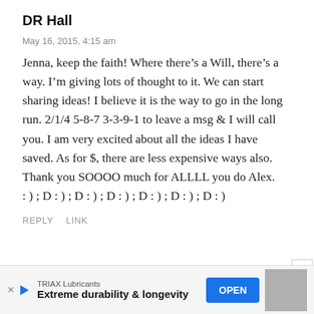DR Hall
May 16, 2015, 4:15 am
Jenna, keep the faith! Where there’s a Will, there’s a way. I’m giving lots of thought to it. We can start sharing ideas! I believe it is the way to go in the long run. 2/1/4 5-8-7 3-3-9-1 to leave a msg & I will call you. I am very excited about all the ideas I have saved. As for $, there are less expensive ways also. Thank you SOOOO much for ALLLL you do Alex. : ) ; D : ) ; D : ) ; D : ) ; D : ) ; D : ) ; D : )
REPLY   LINK
[Figure (other): Advertisement banner: TRIAX Lubricants - Extreme durability & longevity - OPEN button]